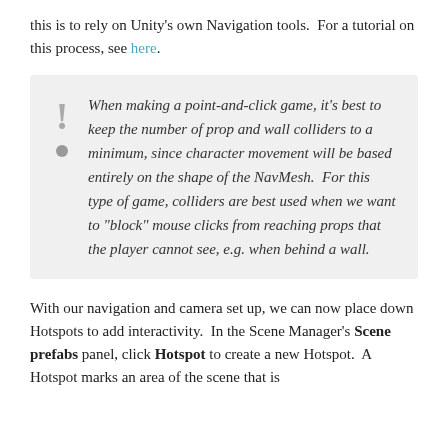this is to rely on Unity's own Navigation tools.  For a tutorial on this process, see here.
When making a point-and-click game, it's best to keep the number of prop and wall colliders to a minimum, since character movement will be based entirely on the shape of the NavMesh.  For this type of game, colliders are best used when we want to "block" mouse clicks from reaching props that the player cannot see, e.g. when behind a wall.
With our navigation and camera set up, we can now place down Hotspots to add interactivity.  In the Scene Manager's Scene prefabs panel, click Hotspot to create a new Hotspot.  A Hotspot marks an area of the scene that is